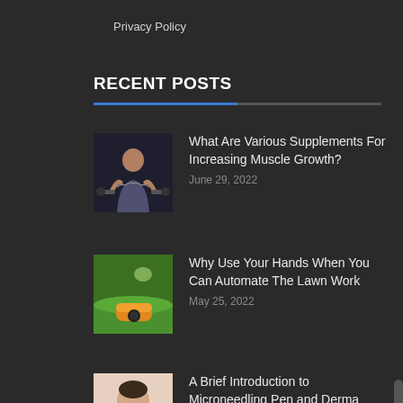Privacy Policy
RECENT POSTS
What Are Various Supplements For Increasing Muscle Growth? June 29, 2022
Why Use Your Hands When You Can Automate The Lawn Work May 25, 2022
A Brief Introduction to Microneedling Pen and Derma Roller